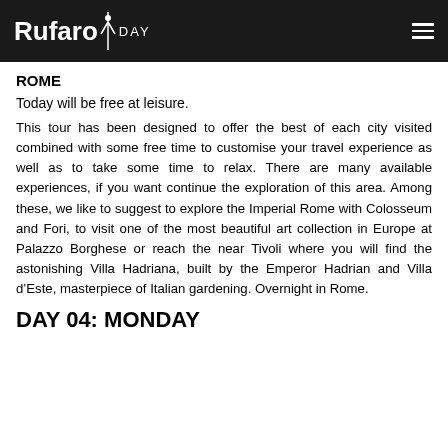Rufaro DAY
ROME
Today will be free at leisure.
This tour has been designed to offer the best of each city visited combined with some free time to customise your travel experience as well as to take some time to relax. There are many available experiences, if you want continue the exploration of this area. Among these, we like to suggest to explore the Imperial Rome with Colosseum and Fori, to visit one of the most beautiful art collection in Europe at Palazzo Borghese or reach the near Tivoli where you will find the astonishing Villa Hadriana, built by the Emperor Hadrian and Villa d’Este, masterpiece of Italian gardening. Overnight in Rome.
DAY 04: MONDAY